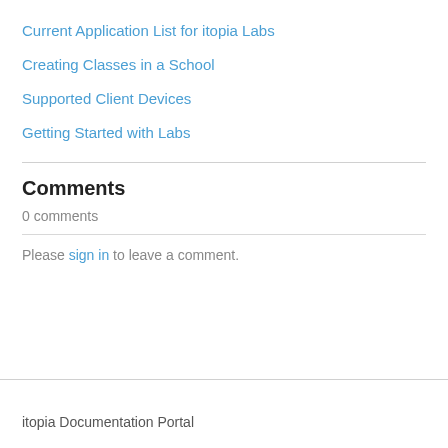Current Application List for itopia Labs
Creating Classes in a School
Supported Client Devices
Getting Started with Labs
Comments
0 comments
Please sign in to leave a comment.
itopia Documentation Portal